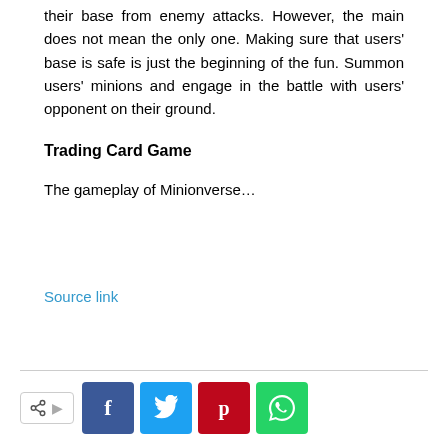their base from enemy attacks. However, the main does not mean the only one. Making sure that users' base is safe is just the beginning of the fun. Summon users' minions and engage in the battle with users' opponent on their ground.
Trading Card Game
The gameplay of Minionverse…
Source link
[Figure (infographic): Social share bar with share button (with share icon and arrow), Facebook (f), Twitter (bird), Pinterest (p), and WhatsApp (phone) buttons]